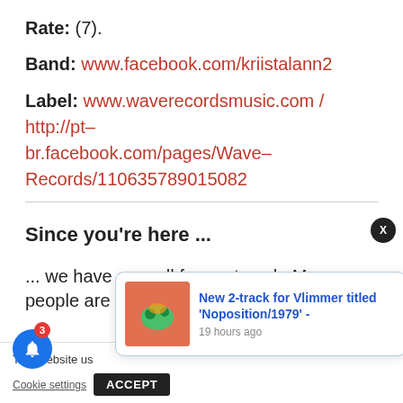Rate: (7).
Band: www.facebook.com/kriistalann2
Label: www.waverecordsmusic.com / http://pt-br.facebook.com/pages/Wave-Records/110635789015082
Since you're here ...
... we have a small favour to ask. More people are
This website us
New 2-track for Vlimmer titled 'Noposition/1979' - 19 hours ago